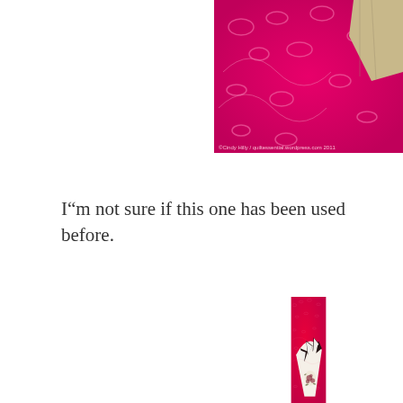[Figure (photo): Close-up photo of a quilt block with pink/magenta batik background fabric featuring swirling floral patterns and a tan/beige fabric piece in the upper right corner]
I"m not sure if this one has been used before.
[Figure (photo): Close-up photo of a quilt fan block on bright pink/red batik fabric background with white and black triangle points and a floral rose fabric fan base]